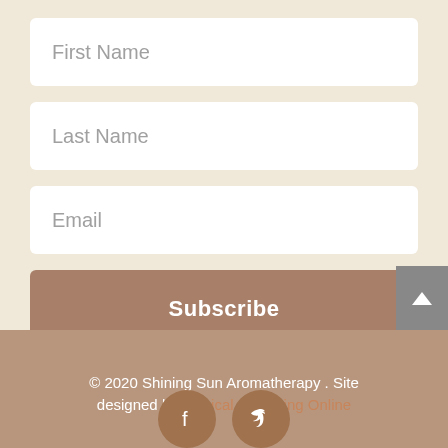First Name
Last Name
Email
Subscribe
© 2020 Shining Sun Aromatherapy . Site designed by Magical Marketing Online
[Figure (illustration): Facebook and Twitter social media icons at bottom of page]